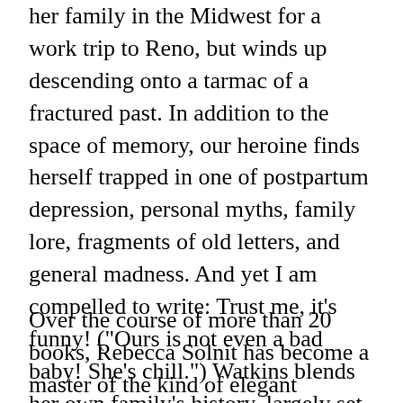her family in the Midwest for a work trip to Reno, but winds up descending onto a tarmac of a fractured past. In addition to the space of memory, our heroine finds herself trapped in one of postpartum depression, personal myths, family lore, fragments of old letters, and general madness. And yet I am compelled to write: Trust me, it’s funny! (“Ours is not even a bad baby! She’s chill.”) Watkins blends her own family’s history, largely set in 1970s California (her father was a member of Charles Manson’s “family”) into this unique and memorable narrative.
Over the course of more than 20 books, Rebecca Solnit has become a master of the kind of elegant observation that stops you in your tracks. As with Watkins, this scrutiny is often about California